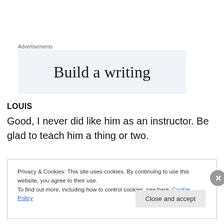Advertisements
[Figure (other): Advertisement banner with text 'Build a writing' on a light blue-grey background]
LOUIS
Good, I never did like him as an instructor. Be glad to teach him a thing or two.
Privacy & Cookies: This site uses cookies. By continuing to use this website, you agree to their use.
To find out more, including how to control cookies, see here: Cookie Policy